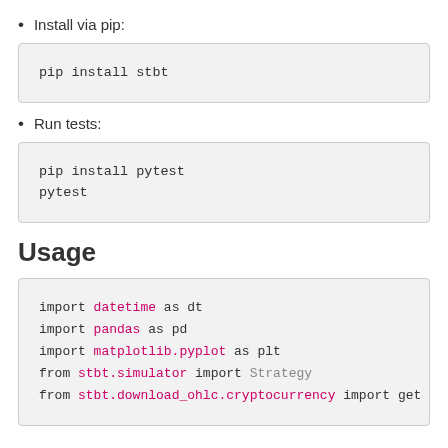Install via pip:
pip install stbt
Run tests:
pip install pytest
pytest
Usage
import datetime as dt
import pandas as pd
import matplotlib.pyplot as plt
from stbt.simulator import Strategy
from stbt.download_ohlc.cryptocurrency import get